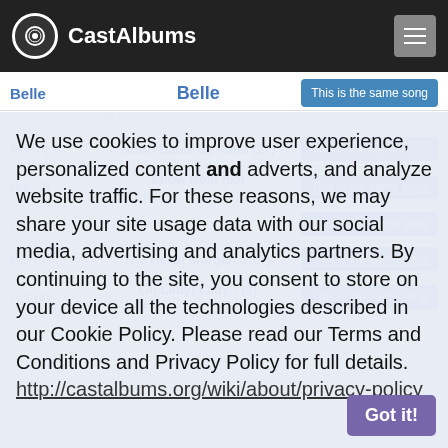CastAlbums
Belle
Belle
1961 Norman
This is the same song
Notre-Dame de Paris (27)
Belle (3)
This is the same song
Show Boat (55)
1927 Kern
This is the same song
1985 Kern
This is the same song
The Helen Morgan Story (3)
Bill (3)
This is the same song
Oh Lady! Lady!! (3)
Bill (4)
1918 Kern
This is the same song
We use cookies to improve user experience, personalized content and adverts, and analyze website traffic. For these reasons, we may share your site usage data with our social media, advertising and analytics partners. By continuing to the site, you consent to store on your device all the technologies described in our Cookie Policy. Please read our Terms and Conditions and Privacy Policy for full details. http://castalbums.org/wiki/about/privacy-policy
Got it!